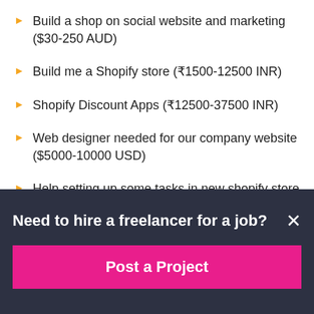Build a shop on social website and marketing ($30-250 AUD)
Build me a Shopify store (₹1500-12500 INR)
Shopify Discount Apps (₹12500-37500 INR)
Web designer needed for our company website ($5000-10000 USD)
Help setting up some tasks in new shopify store ($250-750 USD)
Need to hire a freelancer for a job?
Post a Project